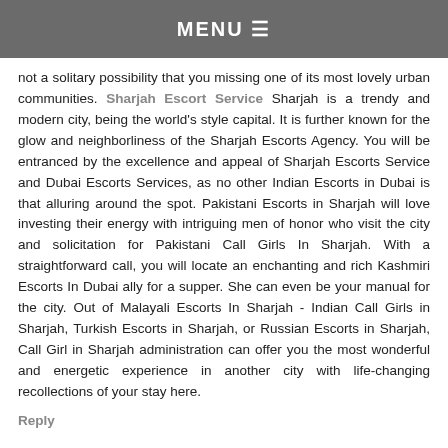MENU
not a solitary possibility that you missing one of its most lovely urban communities. Sharjah Escort Service Sharjah is a trendy and modern city, being the world's style capital. It is further known for the glow and neighborliness of the Sharjah Escorts Agency. You will be entranced by the excellence and appeal of Sharjah Escorts Service and Dubai Escorts Services, as no other Indian Escorts in Dubai is that alluring around the spot. Pakistani Escorts in Sharjah will love investing their energy with intriguing men of honor who visit the city and solicitation for Pakistani Call Girls In Sharjah. With a straightforward call, you will locate an enchanting and rich Kashmiri Escorts In Dubai ally for a supper. She can even be your manual for the city. Out of Malayali Escorts In Sharjah - Indian Call Girls in Sharjah, Turkish Escorts in Sharjah, or Russian Escorts in Sharjah, Call Girl in Sharjah administration can offer you the most wonderful and energetic experience in another city with life-changing recollections of your stay here.
Reply